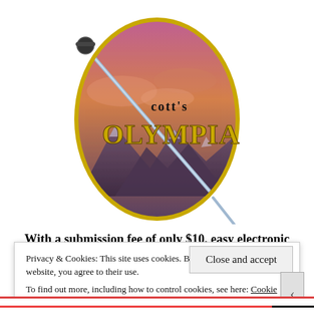[Figure (logo): Cott's Olympia logo — an oval with a purple/pink mountain and sky scene, a sword crossing diagonally over it, with the text 'cott's' in small black letters and 'OLYMPIA' in large gold/yellow stylized letters. The oval is bordered in gold/yellow.]
With a submission fee of only $10, easy electronic
Privacy & Cookies: This site uses cookies. By continuing to use this website, you agree to their use.
To find out more, including how to control cookies, see here: Cookie Policy
Close and accept